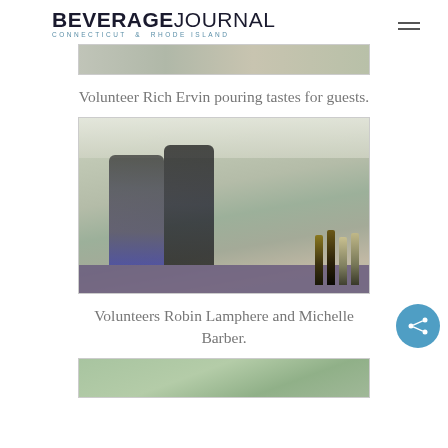BEVERAGE JOURNAL — CONNECTICUT & RHODE ISLAND
[Figure (photo): Partial photo visible at top of page (cropped), event scene]
Volunteer Rich Ervin pouring tastes for guests.
[Figure (photo): Two smiling women standing together at an outdoor tented event, wine bottles and ice buckets on table in front, other event attendees visible in background. Volunteers Robin Lamphere and Michelle Barber.]
Volunteers Robin Lamphere and Michelle Barber.
[Figure (photo): Partial photo at bottom of page (cropped), outdoor scene]